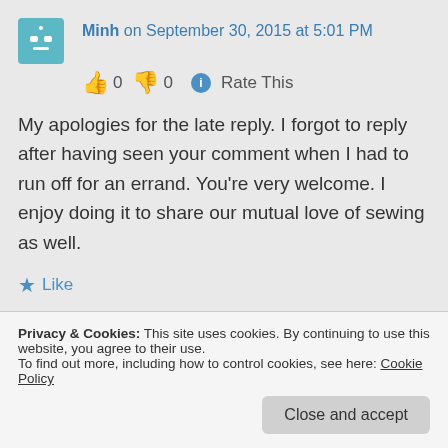Minh on September 30, 2015 at 5:01 PM
👍 0 👎 0 ℹ Rate This
My apologies for the late reply. I forgot to reply after having seen your comment when I had to run off for an errand. You're very welcome. I enjoy doing it to share our mutual love of sewing as well.
★ Like
Privacy & Cookies: This site uses cookies. By continuing to use this website, you agree to their use.
To find out more, including how to control cookies, see here: Cookie Policy
Close and accept